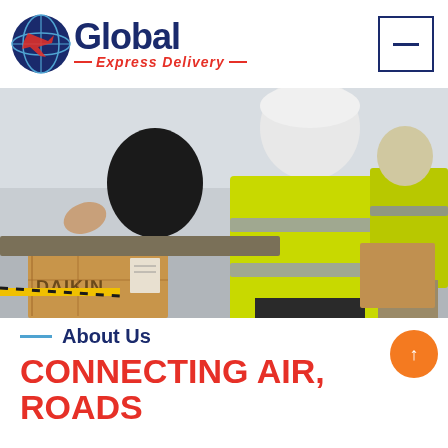[Figure (logo): Global Express Delivery logo with globe icon, blue 'Global' text, red 'Express Delivery' tagline]
[Figure (other): Hamburger/menu button icon, navy border square with horizontal line]
[Figure (photo): Warehouse worker in yellow high-visibility vest handling a Daikin-branded cardboard box on a conveyor/work table, another worker in background]
About Us
CONNECTING AIR, ROADS